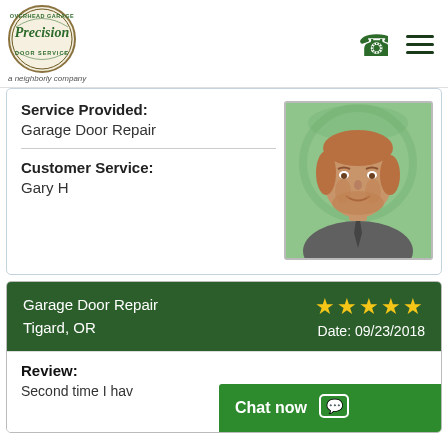[Figure (logo): Precision Overhead Garage Door Service logo - circular badge with green text, 'a Neighborly company' tagline below]
Service Provided:
Garage Door Repair
Customer Service:
Gary H
[Figure (photo): Headshot photo of Gary H, a man with reddish-brown hair and beard, smiling, wearing a grey shirt, against a green Precision Door Service branded background]
Garage Door Repair
Tigard, OR
★★★★★
Date: 09/23/2018
Review:
Second time I hav